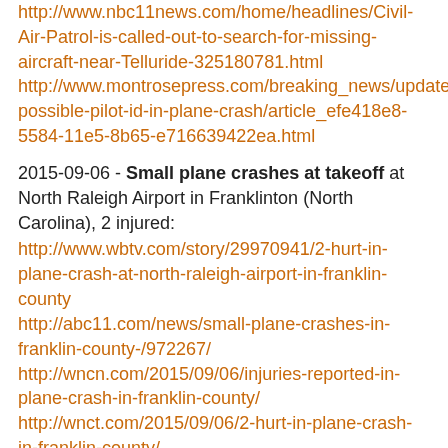http://www.nbc11news.com/home/headlines/Civil-Air-Patrol-is-called-out-to-search-for-missing-aircraft-near-Telluride-325180781.html
http://www.montrosepress.com/breaking_news/update-possible-pilot-id-in-plane-crash/article_efe418e8-5584-11e5-8b65-e716639422ea.html
2015-09-06 - Small plane crashes at takeoff at North Raleigh Airport in Franklinton (North Carolina), 2 injured:
http://www.wbtv.com/story/29970941/2-hurt-in-plane-crash-at-north-raleigh-airport-in-franklin-county
http://abc11.com/news/small-plane-crashes-in-franklin-county-/972267/
http://wncn.com/2015/09/06/injuries-reported-in-plane-crash-in-franklin-county/
http://wnct.com/2015/09/06/2-hurt-in-plane-crash-in-franklin-county/
2015-09-06 - Small plane lands and flips over at airport in coastal Tyabb (Australia):
http://www.9news.com.au/national/2015/09/06/14/42/man-miraculously-escapes-injury-after-plane-flips-at-victorian-